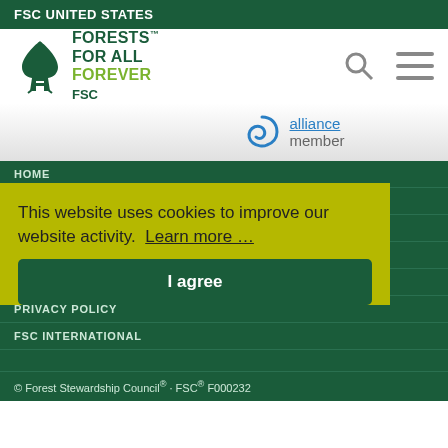FSC UNITED STATES
[Figure (logo): FSC Forests For All Forever logo with tree icon and FSC text]
[Figure (logo): Alliance member logo partial view with blue swirl icon, 'alliance' underlined and 'member' text]
HOME
DISPUTE RESOLUTION
CONTACT US
NEWSLETTER
CAREERS
PRIVACY POLICY
FSC INTERNATIONAL
This website uses cookies to improve our website activity.  Learn more …
I agree
© Forest Stewardship Council® · FSC® F000232